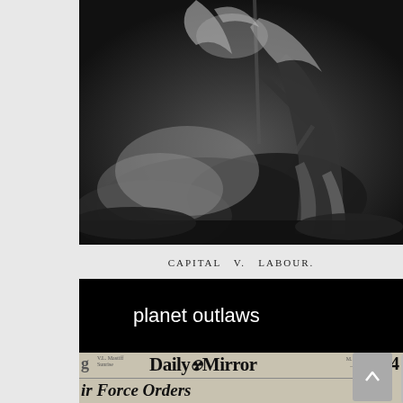[Figure (illustration): Black and white illustration titled 'CAPITAL V. LABOUR.' showing dramatic figures in a dark, shadowy scene with smoke or clouds.]
CAPITAL  V.  LABOUR.
[Figure (screenshot): Black banner with white text reading 'planet outlaws' and an archive.org building icon in the top right corner.]
[Figure (photo): Partial view of a Daily Mirror newspaper front page showing the masthead 'Daily Mirror' and headline fragment 'ir Force Orders', with a scroll-to-top button overlay.]